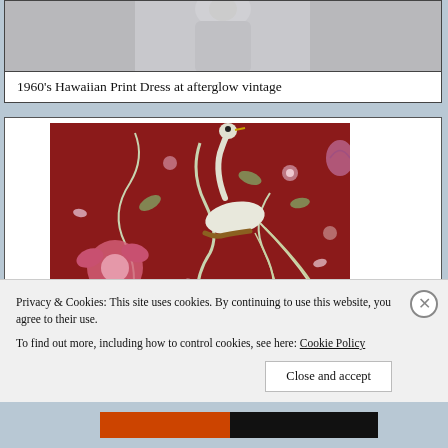[Figure (photo): Partial view of a vintage dress (white/grey garment), cropped at the top of the page]
1960’s Hawaiian Print Dress at afterglow vintage
[Figure (photo): Close-up photograph of a dark red fabric with a floral and peacock/bird print pattern — white peacock bird on branches with flowers and vines on crimson background]
Privacy & Cookies: This site uses cookies. By continuing to use this website, you agree to their use.
To find out more, including how to control cookies, see here: Cookie Policy
Close and accept